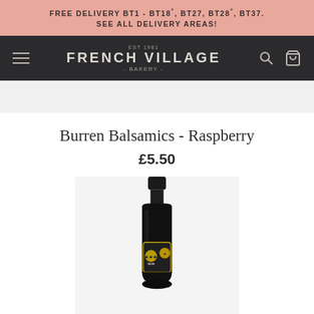FREE DELIVERY BT1 - BT18°, BT27, BT28°, BT37. SEE ALL DELIVERY AREAS!
[Figure (logo): French Village Bakery logo — EST 1981, FRENCH VILLAGE, -BAKERY- on dark background with navigation icons]
Burren Balsamics - Raspberry
£5.50
[Figure (photo): A small bottle of Burren Balsamics Raspberry balsamic vinegar with black cap and gold/dark label, photographed on white background]